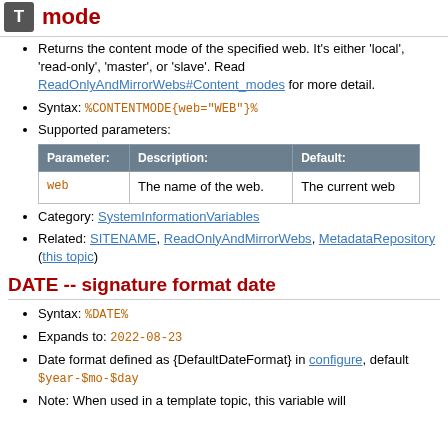mode
Returns the content mode of the specified web. It's either 'local', 'read-only', 'master', or 'slave'. Read ReadOnlyAndMirrorWebs#Content_modes for more detail.
Syntax: %CONTENTMODE{web="WEB"}%
Supported parameters:
| Parameter: | Description: | Default: |
| --- | --- | --- |
| web | The name of the web. | The current web |
Category: SystemInformationVariables
Related: SITENAME, ReadOnlyAndMirrorWebs, MetadataRepository (this topic)
DATE -- signature format date
Syntax: %DATE%
Expands to: 2022-08-23
Date format defined as {DefaultDateFormat} in configure, default $year-$mo-$day
Note: When used in a template topic, this variable will